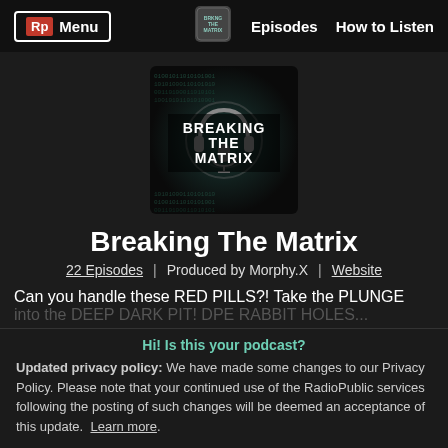Rp Menu | Episodes | How to Listen
[Figure (illustration): Podcast cover art for 'Breaking The Matrix' — dark background with matrix-style binary code, headphones, microphone, teal and gray color scheme with bold text reading BREAKING THE MATRIX]
Breaking The Matrix
22 Episodes | Produced by Morphy.X | Website
Can you handle these RED PILLS?! Take the PLUNGE into the DEEP DARK PIT! DPE RABBIT HOLES...
Hi! Is this your podcast?
Updated privacy policy: We have made some changes to our Privacy Policy. Please note that your continued use of the RadioPublic services following the posting of such changes will be deemed an acceptance of this update. Learn more.